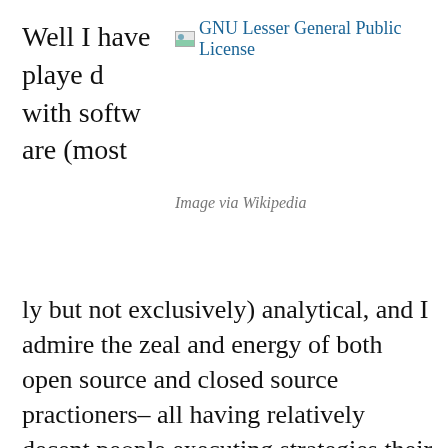Well I have played with software (most
[Figure (illustration): GNU Lesser General Public License image link with small thumbnail icon and blue hyperlink text]
Image via Wikipedia
ly but not exclusively) analytical, and I admire the zeal and energy of both open source and closed source practioners– all having relatively decent people executing strategies their investors or owners tell them to do (closed source) or motivated by their own self sense of cool-change the world-openness (open source)